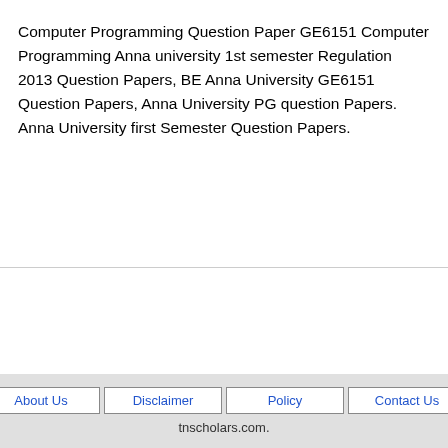Computer Programming Question Paper GE6151 Computer Programming Anna university 1st semester Regulation 2013 Question Papers, BE Anna University GE6151 Question Papers, Anna University PG question Papers. Anna University first Semester Question Papers.
About Us | Disclaimer | Policy | Contact Us
tnscholars.com.